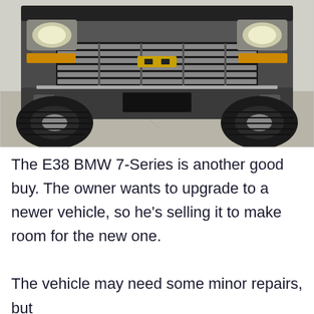[Figure (photo): Front view of a lifted Chevrolet pickup truck (appears to be a Silverado/Sierra generation), dark charcoal/gray color, with large off-road tires, black grille, Chevrolet bowtie emblem, and a blacked-out license plate. The truck is photographed head-on in a parking lot or driveway.]
The E38 BMW 7-Series is another good buy. The owner wants to upgrade to a newer vehicle, so he’s selling it to make room for the new one.
The vehicle may need some minor repairs, but